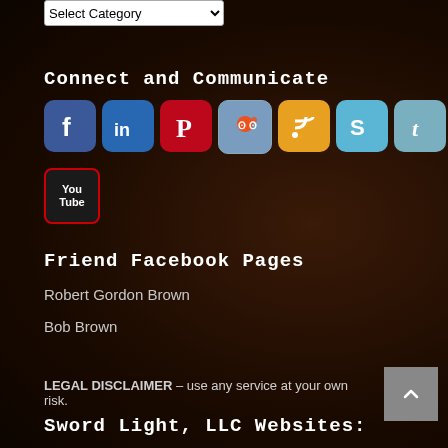[Figure (screenshot): Select Category dropdown widget]
Connect and Communicate
[Figure (infographic): Row of social media icons: Facebook, LinkedIn, Pinterest, Reddit, RSS, Skype, Tumblr, Twitter, WordPress, YouTube]
Friend Facebook Pages
Robert Gordon Brown
Bob Brown
LEGAL DISCLAIMER – use any service at your own risk.
Sword Light, LLC Websites: